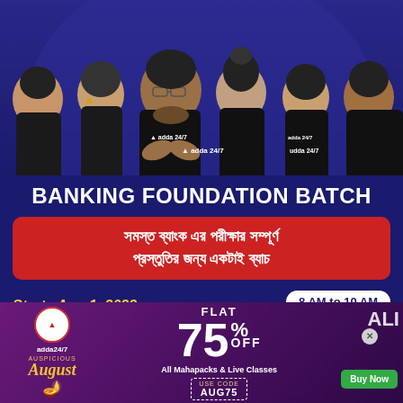[Figure (photo): Group of 6 educators/teachers in black Adda247 branded clothing against a dark blue background]
BANKING FOUNDATION BATCH
সমস্ত ব্যাংক এর পরীক্ষার সম্পূর্ণ প্রস্তুতির জন্য একটাই ব্যাচ
Starts Aug 1, 2022
8 AM to 10 AM
4 PM to 6 PM
[Figure (infographic): Adda247 promotional banner - Auspicious August sale, FLAT 75% OFF on All Mahapacks & Live Classes, USE CODE AUG75, Buy Now button]
FLAT 75% OFF All Mahapacks & Live Classes USE CODE AUG75